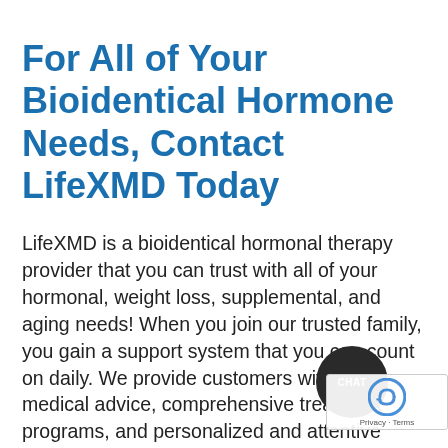For All of Your Bioidentical Hormone Needs, Contact LifeXMD Today
LifeXMD is a bioidentical hormonal therapy provider that you can trust with all of your hormonal, weight loss, supplemental, and aging needs! When you join our trusted family, you gain a support system that you can count on daily. We provide customers with vital medical advice, comprehensive treatment programs, and personalized and attentive customer service in our offices within the states of Florida, Michigan, and Arizona. We do, however, provide Telemed services nationally service which allow us to treat you from the comfort of your home and mail therapies directly to your door. No embarrassing doctors appointments and pharmacy